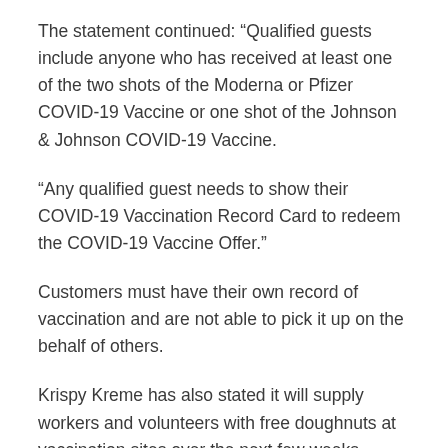The statement continued: “Qualified guests include anyone who has received at least one of the two shots of the Moderna or Pfizer COVID-19 Vaccine or one shot of the Johnson & Johnson COVID-19 Vaccine.
“Any qualified guest needs to show their COVID-19 Vaccination Record Card to redeem the COVID-19 Vaccine Offer.”
Customers must have their own record of vaccination and are not able to pick it up on the behalf of others.
Krispy Kreme has also stated it will supply workers and volunteers with free doughnuts at vaccination sites over the next few weeks.